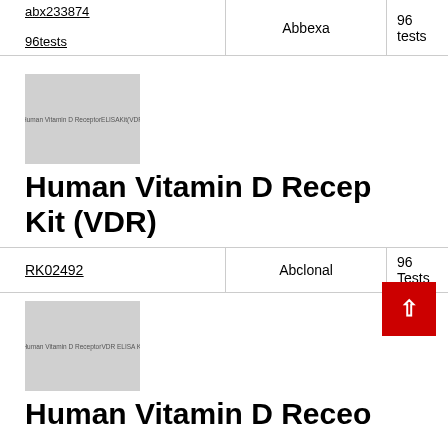| Product | Supplier | Size |
| --- | --- | --- |
| abx233874
96tests | Abbexa | 96 tests |
[Figure (photo): Product image placeholder for Human Vitamin D Receptor ELISA Kit (VDR), grey rectangle with small text]
Human Vitamin D Receptor Kit (VDR)
| Product | Supplier | Size |
| --- | --- | --- |
| RK02492 | Abclonal | 96 Tests |
[Figure (photo): Product image placeholder for Human Vitamin D Receptor VDR ELISA Kit, grey rectangle with small text]
Human Vitamin D Recep...